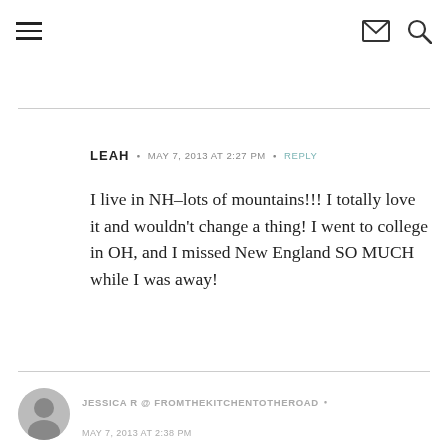Navigation bar with hamburger menu, mail icon, and search icon
LEAH · MAY 7, 2013 AT 2:27 PM · REPLY
I live in NH–lots of mountains!!! I totally love it and wouldn't change a thing! I went to college in OH, and I missed New England SO MUCH while I was away!
JESSICA R @ FROMTHEKITCHENTOTHEROAD ·
MAY 7, 2013 AT 2:38 PM